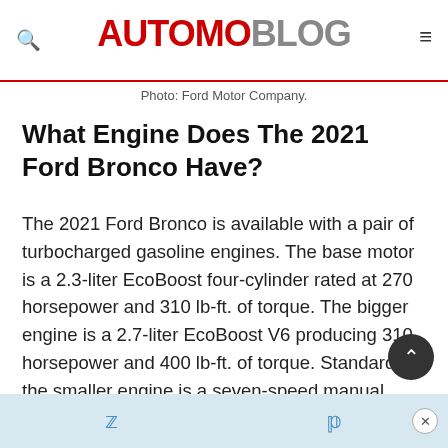AUTOMOBLOG
Photo: Ford Motor Company.
What Engine Does The 2021 Ford Bronco Have?
The 2021 Ford Bronco is available with a pair of turbocharged gasoline engines. The base motor is a 2.3-liter EcoBoost four-cylinder rated at 270 horsepower and 310 lb-ft. of torque. The bigger engine is a 2.7-liter EcoBoost V6 producing 310 horsepower and 400 lb-ft. of torque. Standard on the smaller engine is a seven-speed manual gearbox with six regular gears and crawler gear equipped with 94.75:1 ratio.